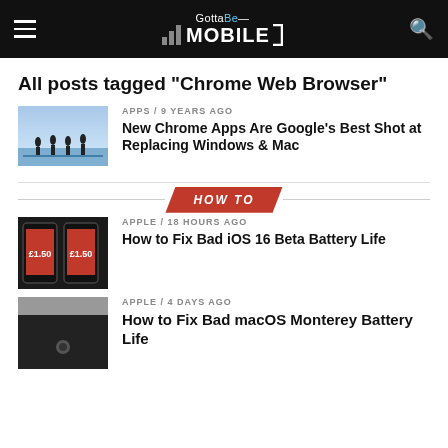GottaBeMobile
All posts tagged "Chrome Web Browser"
[Figure (photo): Thumbnail image of people silhouettes on paddleboards at sunset]
APPS / 9 years ago
New Chrome Apps Are Google's Best Shot at Replacing Windows & Mac
[Figure (screenshot): HOW TO section banner with red parallelogram badge]
[Figure (photo): Thumbnail of two iPhones showing £1.50 price screens]
APPLE / 18 hours ago
How to Fix Bad iOS 16 Beta Battery Life
[Figure (photo): Thumbnail of MacBook with dark screen]
APPLE / 4 days ago
How to Fix Bad macOS Monterey Battery Life